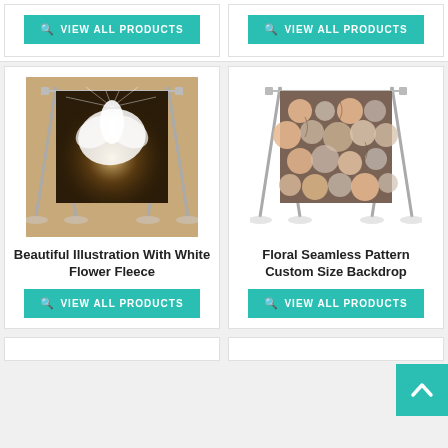[Figure (illustration): VIEW ALL PRODUCTS button (teal) top left]
[Figure (illustration): VIEW ALL PRODUCTS button (teal) top right]
[Figure (photo): Product photo: Beautiful Illustration With White Flower Fleece backdrop on stand]
Beautiful Illustration With White Flower Fleece
[Figure (illustration): VIEW ALL PRODUCTS button (teal) below left product]
[Figure (photo): Product photo: Floral Seamless Pattern Custom Size Backdrop on stand]
Floral Seamless Pattern Custom Size Backdrop
[Figure (illustration): VIEW ALL PRODUCTS button (teal) below right product]
[Figure (illustration): Scroll to top arrow button (teal)]